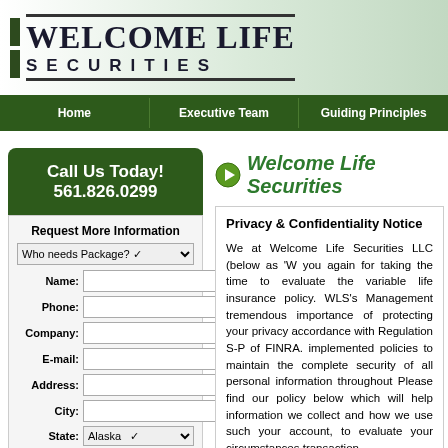[Figure (logo): Welcome Life Securities logo with green bar, serif bold WELCOME LIFE text and spaced SECURITIES text]
Home | Executive Team | Guiding Principles
Call Us Today! 561.826.0299
Request More Information
Welcome Life Securities
Privacy & Confidentiality Notice
We at Welcome Life Securities LLC (below as 'W you again for taking the time to evaluate the variable life insurance policy. WLS's Management tremendous importance of protecting your privacy accordance with Regulation S-P of FINRA. implemented policies to maintain the completel security of all personal information throughout Please find our policy below which will help information we collect and how we use such your account, to evaluate your circumstances transaction.
Confidentiality and Security